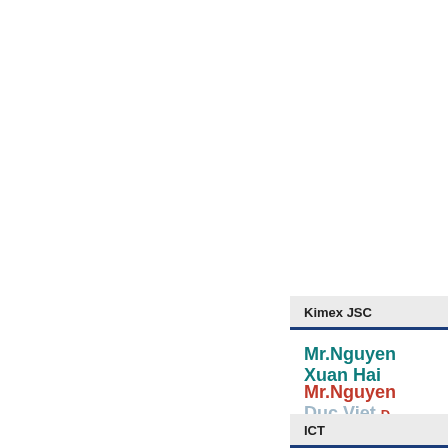Kimex JSC
Mr.Nguyen Xuan Hai
Mr.Nguyen Duc Viet
ICT